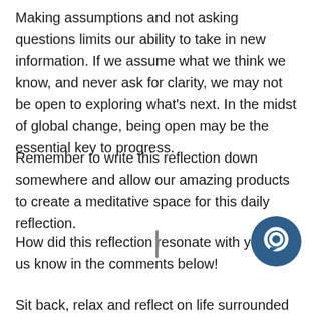Making assumptions and not asking questions limits our ability to take in new information. If we assume what we think we know, and never ask for clarity, we may not be open to exploring what's next. In the midst of global change, being open may be the essential key to progress.
Remember to write this reflection down somewhere and allow our amazing products to create a meditative space for this daily reflection.
How did this reflection resonate with you? Let us know in the comments below!
Sit back, relax and reflect on life surrounded by high